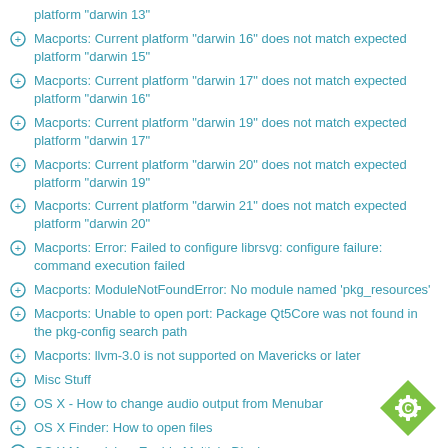platform "darwin 13"
Macports: Current platform "darwin 16" does not match expected platform "darwin 15"
Macports: Current platform "darwin 17" does not match expected platform "darwin 16"
Macports: Current platform "darwin 19" does not match expected platform "darwin 17"
Macports: Current platform "darwin 20" does not match expected platform "darwin 19"
Macports: Current platform "darwin 21" does not match expected platform "darwin 20"
Macports: Error: Failed to configure librsvg: configure failure: command execution failed
Macports: ModuleNotFoundError: No module named 'pkg_resources'
Macports: Unable to open port: Package Qt5Core was not found in the pkg-config search path
Macports: llvm-3.0 is not supported on Mavericks or later
Misc Stuff
OS X - How to change audio output from Menubar
OS X Finder: How to open files
OS X Mavericks - Enable Multiple Displays
OS X Mavericks - How to pair only one remote control with Macbook Pro